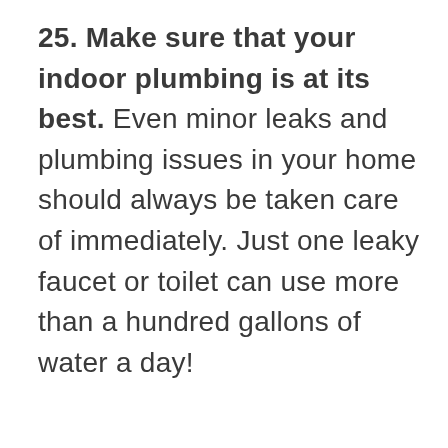25. Make sure that your indoor plumbing is at its best. Even minor leaks and plumbing issues in your home should always be taken care of immediately. Just one leaky faucet or toilet can use more than a hundred gallons of water a day!